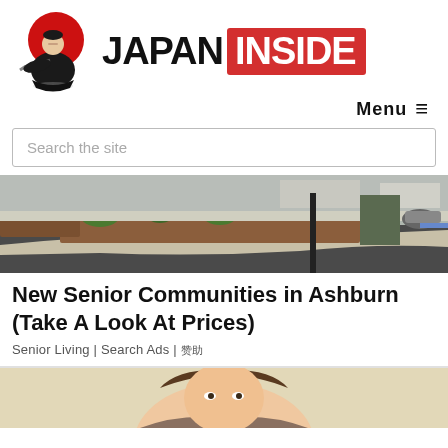[Figure (logo): Japan Inside logo with samurai illustration and red circle on left, text JAPAN INSIDE where INSIDE is on red background]
Menu ≡
Search the site
[Figure (photo): Street-level photo of a parking lot area with curb, mulched landscaping, trees, and buildings in background]
New Senior Communities in Ashburn (Take A Look At Prices)
Senior Living | Search Ads | 赞助
[Figure (illustration): Partial illustration showing a cartoon/anime-style character, beige/tan background visible at bottom of page]